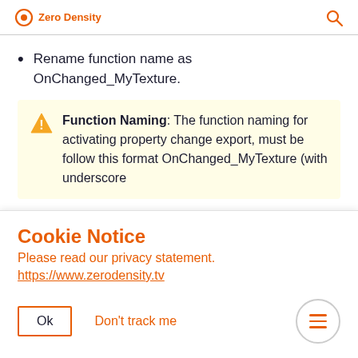Zero Density
Rename function name as OnChanged_MyTexture.
Function Naming: The function naming for activating property change export, must be follow this format OnChanged_MyTexture (with underscore
Cookie Notice
Please read our privacy statement.
https://www.zerodensity.tv
Ok   Don't track me